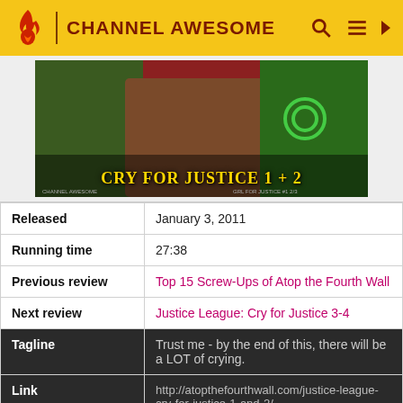CHANNEL AWESOME
[Figure (illustration): Thumbnail image showing comic book characters (Green Lantern and others) with text 'CRY FOR JUSTICE 1 + 2' in gold letters]
| Released | January 3, 2011 |
| Running time | 27:38 |
| Previous review | Top 15 Screw-Ups of Atop the Fourth Wall |
| Next review | Justice League: Cry for Justice 3-4 |
| Tagline | Trust me - by the end of this, there will be a LOT of crying. |
| Link | http://atopthefourthwall.com/justice-league-cry-for-justice-1-and-2/ |